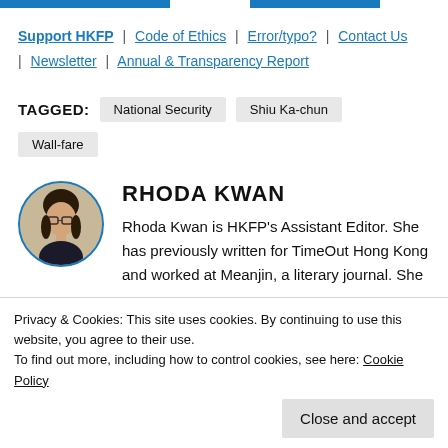Support HKFP | Code of Ethics | Error/typo? | Contact Us | Newsletter | Annual & Transparency Report
TAGGED: National Security   Shiu Ka-chun   Wall-fare
RHODA KWAN
Rhoda Kwan is HKFP's Assistant Editor. She has previously written for TimeOut Hong Kong and worked at Meanjin, a literary journal. She
Privacy & Cookies: This site uses cookies. By continuing to use this website, you agree to their use.
To find out more, including how to control cookies, see here: Cookie Policy
Close and accept